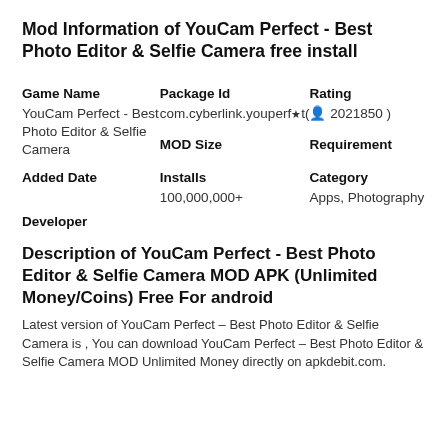Mod Information of YouCam Perfect - Best Photo Editor & Selfie Camera free install
| Game Name | Package Id | Rating |
| --- | --- | --- |
| YouCam Perfect - Best Photo Editor & Selfie Camera | com.cyberlink.youperfect | ★( 👤 2021850 ) |
|  | MOD Size | Requirement |
| Added Date | Installs | Category |
|  | 100,000,000+ | Apps, Photography |
Developer
Description of YouCam Perfect - Best Photo Editor & Selfie Camera MOD APK (Unlimited Money/Coins) Free For android
Latest version of YouCam Perfect – Best Photo Editor & Selfie Camera is , You can download YouCam Perfect – Best Photo Editor & Selfie Camera MOD Unlimited Money directly on apkdebit.com.